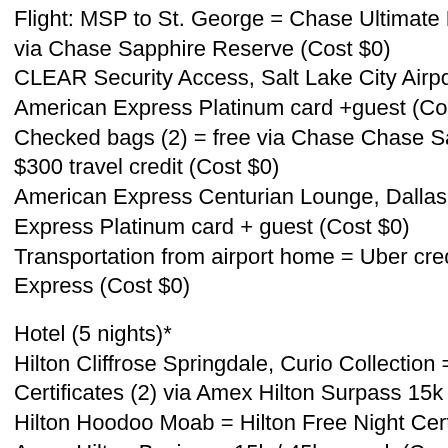Flight: MSP to St. George = Chase Ultimate Rewards @ 1¢ via Chase Sapphire Reserve (Cost $0)
CLEAR Security Access, Salt Lake City Airport = free via American Express Platinum card +guest (Cost $0)
Checked bags (2) = free via Chase Chase Sapphire Reserve $300 travel credit (Cost $0)
American Express Centurian Lounge, Dallas = free via American Express Platinum card + guest (Cost $0)
Transportation from airport home = Uber credits from American Express (Cost $0)
Hotel (5 nights)*
Hilton Cliffrose Springdale, Curio Collection = Hilton Free Night Certificates (2) via Amex Hilton Surpass 15k spend (Cost $0)
Hilton Hoodoo Moab = Hilton Free Night Certificates (2) Amex Hilton Business 15k / 45k spend, (Cost $0)
Kimpton Monaco Salt Lake City = US Bank Flexperks @...